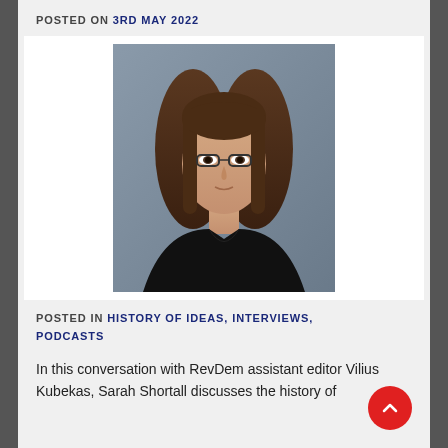POSTED ON 3RD MAY 2022
[Figure (photo): Portrait photo of a woman with shoulder-length brown hair, glasses, wearing a black top, against a grey background.]
POSTED IN HISTORY OF IDEAS, INTERVIEWS, PODCASTS
In this conversation with RevDem assistant editor Vilius Kubekas, Sarah Shortall discusses the history of